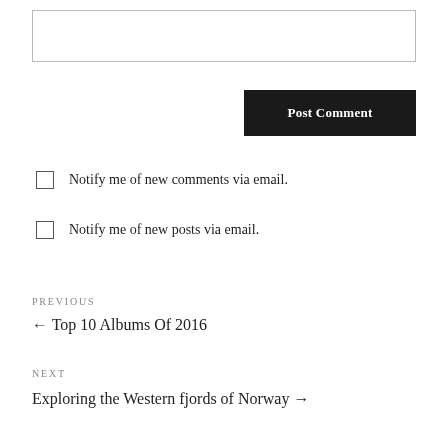[text input box]
Post Comment
Notify me of new comments via email.
Notify me of new posts via email.
PREVIOUS
← Top 10 Albums Of 2016
NEXT
Exploring the Western fjords of Norway →